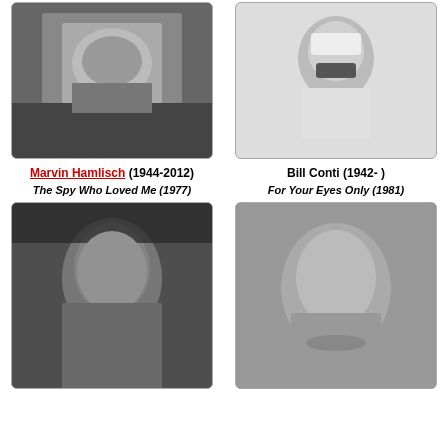[Figure (photo): Black and white photo of Marvin Hamlisch at a piano or working at a desk]
[Figure (photo): Black and white photo of Bill Conti adjusting a bow tie in formal wear]
Marvin Hamlisch (1944-2012)
Bill Conti (1942- )
The Spy Who Loved Me (1977)
For Your Eyes Only (1981)
[Figure (photo): Color close-up photo of a young man with tousled dark hair]
[Figure (photo): Color close-up photo of a man with brown hair and a goatee/mustache]